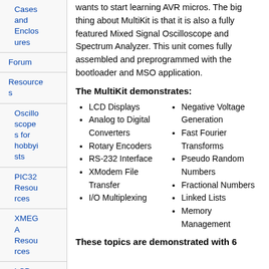wants to start learning AVR micros. The big thing about MultiKit is that it is also a fully featured Mixed Signal Oscilloscope and Spectrum Analyzer. This unit comes fully assembled and preprogrammed with the bootloader and MSO application.
Cases and Enclosures
Forum
Resources
Oscilloscopes for hobbyists
PIC32 Resources
XMEGA Resources
LCD Libraries
The MultiKit demonstrates:
LCD Displays
Analog to Digital Converters
Rotary Encoders
RS-232 Interface
XModem File Transfer
I/O Multiplexing
Negative Voltage Generation
Fast Fourier Transforms
Pseudo Random Numbers
Fractional Numbers
Linked Lists
Memory Management
These topics are demonstrated with 6